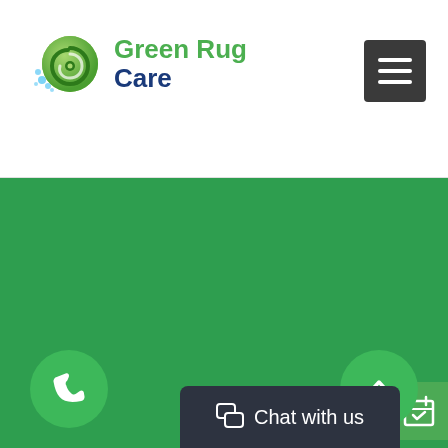[Figure (logo): Green Rug Care logo with green circular leaf/rug icon and blue text reading 'Green Rug Care']
[Figure (other): Dark grey hamburger menu button with three white horizontal bars]
[Figure (other): Large green background section filling most of the page]
[Figure (other): Green calendar icon button on the right side]
[Figure (other): Green circular phone icon button at bottom left]
[Figure (other): Green circular scroll-to-top arrow button at bottom right]
[Figure (other): Dark 'Chat with us' bar at the bottom center with chat bubble icon]